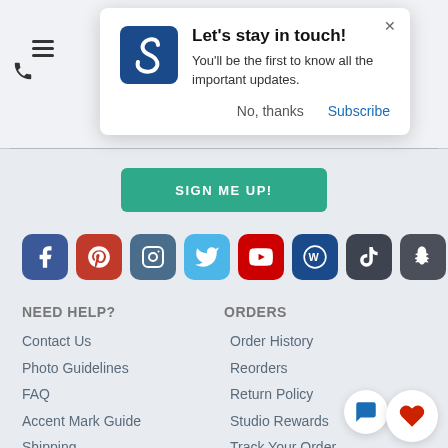[Figure (screenshot): Website header with hamburger menu icon and phone icon on the left]
[Figure (infographic): Popup notification dialog: 'Let's stay in touch!' with logo, body text 'You'll be the first to know all the important updates.', No thanks and Subscribe buttons]
[Figure (infographic): Green 'SIGN ME UP!' button]
[Figure (infographic): Row of 8 social media icons: Facebook, Pinterest, Instagram, Twitter, YouTube, WordPress, TikTok, Snapchat]
NEED HELP?
Contact Us
Photo Guidelines
FAQ
Accent Mark Guide
Shipping
ORDERS
Order History
Reorders
Return Policy
Studio Rewards
Track Your Order